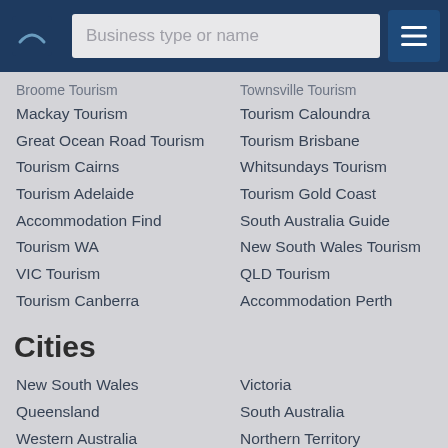Business type or name
Broome Tourism
Townsville Tourism
Mackay Tourism
Tourism Caloundra
Great Ocean Road Tourism
Tourism Brisbane
Tourism Cairns
Whitsundays Tourism
Tourism Adelaide
Tourism Gold Coast
Accommodation Find
South Australia Guide
Tourism WA
New South Wales Tourism
VIC Tourism
QLD Tourism
Tourism Canberra
Accommodation Perth
Cities
New South Wales
Victoria
Queensland
South Australia
Western Australia
Northern Territory
Tasmania
Australian Capital Territory